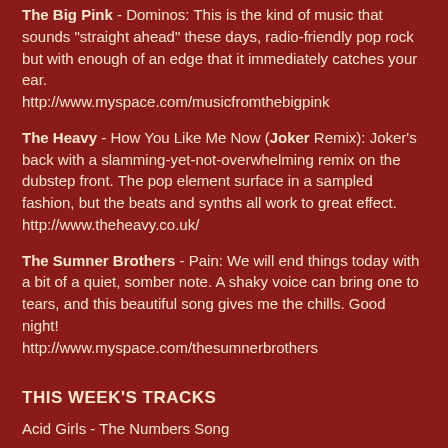The Big Pink - Dominos: This is the kind of music that sounds "straight ahead" these days, radio-friendly pop rock but with enough of an edge that it immediately catches your ear.
http://www.myspace.com/musicfromthebigpink
The Heavy - How You Like Me Now (Joker Remix): Joker's back with a slamming-yet-not-overwhelming remix on the dubstep front. The pop element surface in a sampled fashion, but the beats and synths all work to great effect.
http://www.theheavy.co.uk/
The Sumner Brothers - Pain: We will end things today with a bit of a quiet, somber note. A shaky voice can bring one to tears, and this beautiful song gives me the chills. Good night!
http://www.myspace.com/thesumnerbrothers
THIS WEEK'S TRACKS
Acid Girls - The Numbers Song